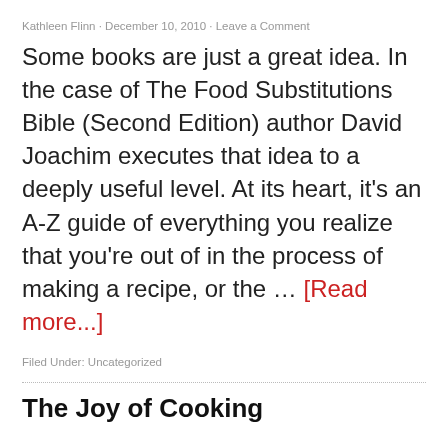Kathleen Flinn · December 10, 2010 · Leave a Comment
Some books are just a great idea. In the case of The Food Substitutions Bible (Second Edition) author David Joachim executes that idea to a deeply useful level. At its heart, it's an A-Z guide of everything you realize that you're out of in the process of making a recipe, or the … [Read more...]
Filed Under: Uncategorized
The Joy of Cooking